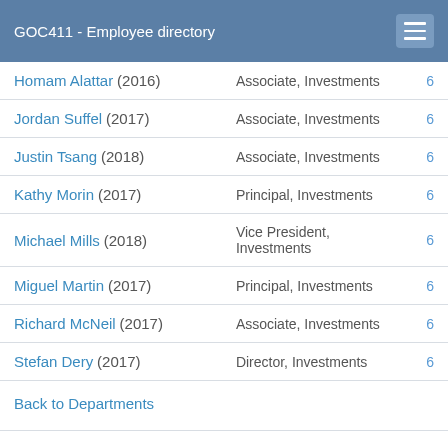GOC411 - Employee directory
| Name | Title |  |
| --- | --- | --- |
| Homam Alattar (2016) | Associate, Investments | 6 |
| Jordan Suffel (2017) | Associate, Investments | 6 |
| Justin Tsang (2018) | Associate, Investments | 6 |
| Kathy Morin (2017) | Principal, Investments | 6 |
| Michael Mills (2018) | Vice President, Investments | 6 |
| Miguel Martin (2017) | Principal, Investments | 6 |
| Richard McNeil (2017) | Associate, Investments | 6 |
| Stefan Dery (2017) | Director, Investments | 6 |
Back to Departments